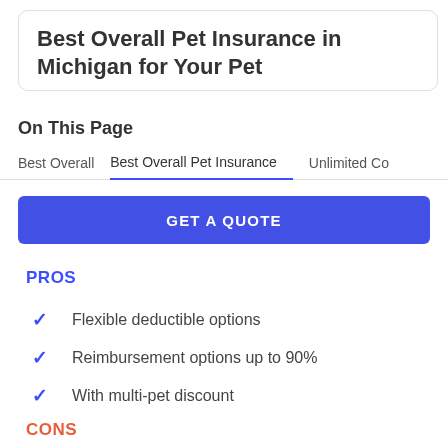Best Overall Pet Insurance in Michigan for Your Pet
On This Page
Best Overall   Best Overall Pet Insurance   Unlimited Co
GET A QUOTE
PROS
Flexible deductible options
Reimbursement options up to 90%
With multi-pet discount
CONS